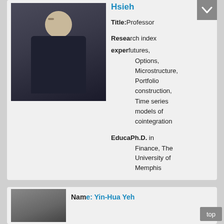[Figure (photo): Professional headshot of Professor Hsieh in dark suit with arms crossed]
Hsieh
Title: Professor
Research expertise: Stock index futures, Options, Microstructure, Portfolio construction, Time series models of cointegration
Education: Ph.D. in Finance, The University of Memphis
[Figure (photo): Partial headshot of next faculty member Yin-Hua Yeh]
Name: Yin-Hua Yeh